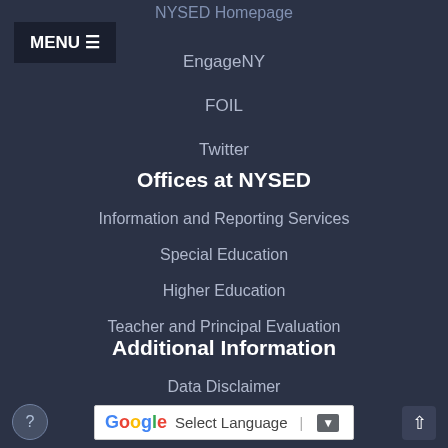NYSED Homepage
EngageNY
FOIL
Twitter
Offices at NYSED
Information and Reporting Services
Special Education
Higher Education
Teacher and Principal Evaluation
Additional Information
Data Disclaimer
Login